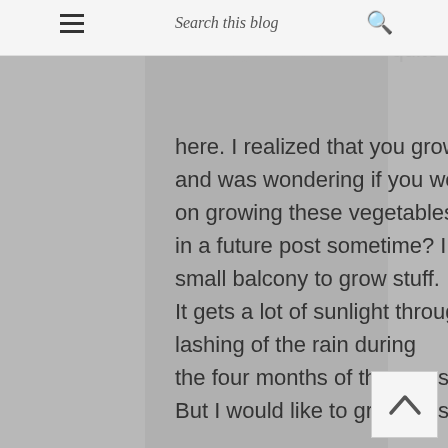Search this blog
We do get these vegetables in some supermarkets but they can be quite, quite expensive here. I realized that you grow your own vegetables and was wondering if you would share some gardening tips on growing these vegetables in a future post sometime? I live in Mumbai and have a small balcony to grow stuff. It gets a lot of sunlight throughout the year and all the lashing of the rain during the four months of the monsoon :) But I would like to grow these vegetables.

Many thanks.